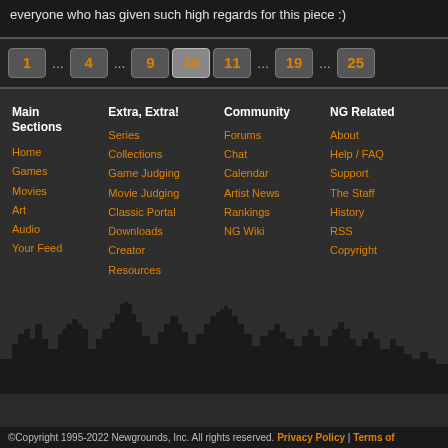everyone who has given such high regards for this piece :)
1 ... 4 ... 9  10  11 ... 19 ... 25
Main Sections: Home, Games, Movies, Art, Audio, Your Feed
Extra, Extra!: Series, Collections, Game Judging, Movie Judging, Classic Portal, Downloads, Creator Resources
Community: Forums, Chat, Calendar, Artist News, Rankings, NG Wiki
NG Related: About, Help / FAQ, Support, The Staff, History, RSS, Copyright
[Figure (illustration): City skyline silhouette in dark/black against dark background]
©Copyright 1995-2022 Newgrounds, Inc. All rights reserved. Privacy Policy | Terms of